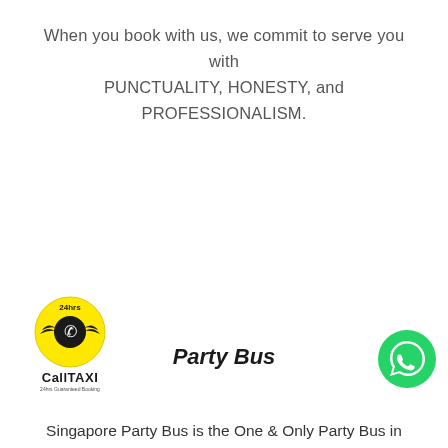When you book with us, we commit to serve you with PUNCTUALITY, HONESTY, and PROFESSIONALISM.
[Figure (logo): CallTAXI logo with yellow circle, taxi phone/wings icon, and '24hrs' text at top. Text 'CallTAXI' in bold below, with '24hrs Guaranteed Booking' subtext.]
Party Bus
[Figure (logo): WhatsApp green circle button with white phone/chat icon]
Singapore Party Bus is the One & Only Party Bus in